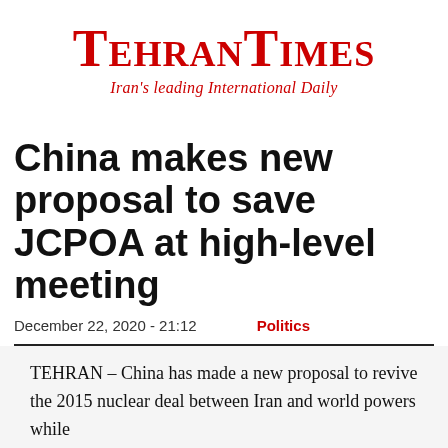TEHRANTIMES
Iran's leading International Daily
China makes new proposal to save JCPOA at high-level meeting
December 22, 2020 - 21:12    Politics
TEHRAN – China has made a new proposal to revive the 2015 nuclear deal between Iran and world powers while